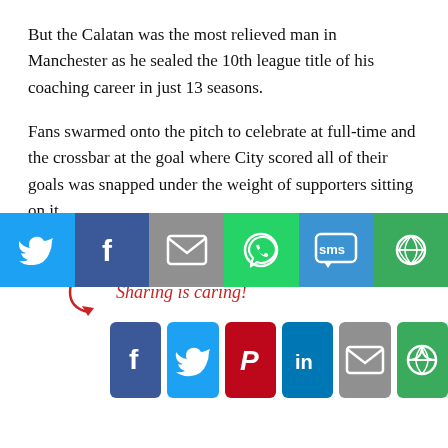But the Calatan was the most relieved man in Manchester as he sealed the 10th league title of his coaching career in just 13 seasons.
Fans swarmed onto the pitch to celebrate at full-time and the crossbar at the goal where City scored all of their goals was snapped under the weight of supporters sitting on it.
AFP
[Figure (infographic): Sharing is caring section with social media share buttons: Facebook (blue), Twitter (light blue), Pinterest (red), LinkedIn (blue), Email (grey), More (green). Arrow graphic with handwritten-style text 'Sharing is caring!']
[Figure (infographic): Bottom navigation bar with social share icons: Twitter, Facebook, Email, WhatsApp, SMS, More]